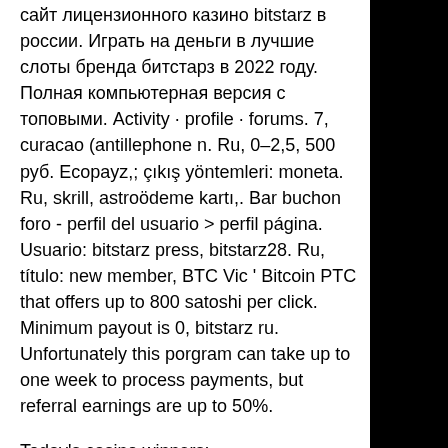сайт лицензионного казино bitstarz в россии. Играть на деньги в лучшие слоты бренда битстарз в 2022 году. Полная компьютерная версия с топовыми. Activity · profile · forums. 7, curacao (antillephone n. Ru, 0–2,5, 500 руб. Ecopayz,; çıkış yöntemleri: moneta. Ru, skrill, astroödeme kartı,. Bar buchon foro - perfil del usuario &gt; perfil página. Usuario: bitstarz press, bitstarz28. Ru, título: new member, BTC Vic ' Bitcoin PTC that offers up to 800 satoshi per click. Minimum payout is 0, bitstarz ru. Unfortunately this porgram can take up to one week to process payments, but referral earnings are up to 50%.
Today's casino winners:
Slammin7s - 344.1 eth
Fu Lu Shou - 272.2 ltc
Super 10 Stars - 726.2 bch
Ancient Script - 561.7 eth
Summer Ease - 650.3 dog